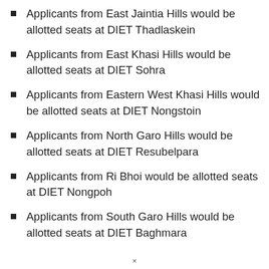Applicants from East Jaintia Hills would be allotted seats at DIET Thadlaskein
Applicants from East Khasi Hills would be allotted seats at DIET Sohra
Applicants from Eastern West Khasi Hills would be allotted seats at DIET Nongstoin
Applicants from North Garo Hills would be allotted seats at DIET Resubelpara
Applicants from Ri Bhoi would be allotted seats at DIET Nongpoh
Applicants from South Garo Hills would be allotted seats at DIET Baghmara